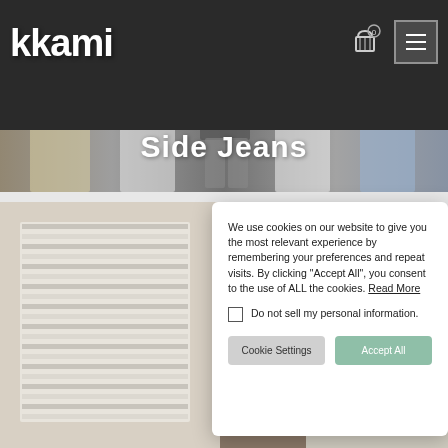kkami
[Figure (screenshot): Website banner showing multiple female models wearing casual clothing (joggers, shorts, hoodies) in cream, white, grey, and blue colors against a light grey background]
Side Jeans
[Figure (photo): Product photo showing a room with window blinds on left side, and a person wearing jeans on right side, partially obscured by cookie consent modal]
We use cookies on our website to give you the most relevant experience by remembering your preferences and repeat visits. By clicking “Accept All”, you consent to the use of ALL the cookies. Read More
Do not sell my personal information.
Cookie Settings
Accept All